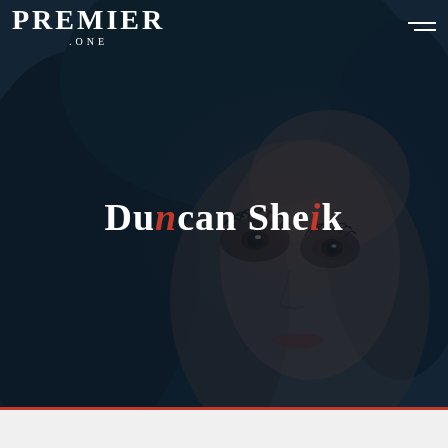PREMIER .ONE
[Figure (photo): Close-up portrait of a woman with dramatic makeup, long lashes, and dark hair against a dark blue-teal background. The image fills most of the page with a dark overlay.]
Duncan Sheik